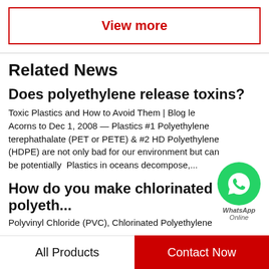View more
Related News
Does polyethylene release toxins?
Toxic Plastics and How to Avoid Them | Blog le Acorns to Dec 1, 2008 — Plastics #1 Polyethylene terephathalate (PET or PETE) & #2 HD Polyethylene (HDPE) are not only bad for our environment but can be potentially  Plastics in oceans decompose,...
How do you make chlorinated polyeth...
Polyvinyl Chloride (PVC), Chlorinated Polyethylene
[Figure (logo): WhatsApp icon - green circle with phone handset icon, labeled WhatsApp Online]
All Products   Contact Now